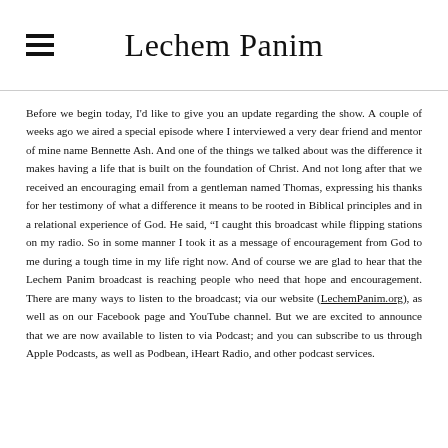Lechem Panim
Before we begin today, I'd like to give you an update regarding the show. A couple of weeks ago we aired a special episode where I interviewed a very dear friend and mentor of mine name Bennette Ash. And one of the things we talked about was the difference it makes having a life that is built on the foundation of Christ. And not long after that we received an encouraging email from a gentleman named Thomas, expressing his thanks for her testimony of what a difference it means to be rooted in Biblical principles and in a relational experience of God. He said, “I caught this broadcast while flipping stations on my radio. So in some manner I took it as a message of encouragement from God to me during a tough time in my life right now. And of course we are glad to hear that the Lechem Panim broadcast is reaching people who need that hope and encouragement. There are many ways to listen to the broadcast; via our website (LechemPanim.org), as well as on our Facebook page and YouTube channel. But we are excited to announce that we are now available to listen to via Podcast; and you can subscribe to us through Apple Podcasts, as well as Podbean, iHeart Radio, and other podcast services.